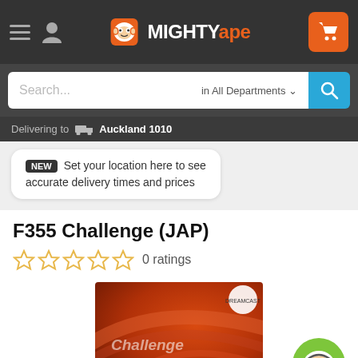Mighty Ape — navigation header with hamburger menu, user icon, logo, and cart button
Search... in All Departments
Delivering to Auckland 1010
NEW Set your location here to see accurate delivery times and prices
F355 Challenge (JAP)
0 ratings
[Figure (photo): F355 Challenge (JAP) Dreamcast game cover art — orange/red toned image with 'Challenge' and 'F355 challenge' text visible, Dreamcast logo in top right corner]